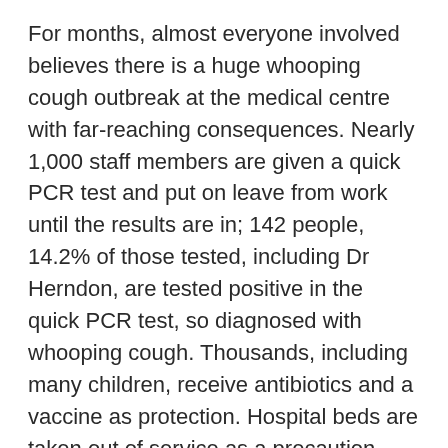For months, almost everyone involved believes there is a huge whooping cough outbreak at the medical centre with far-reaching consequences. Nearly 1,000 staff members are given a quick PCR test and put on leave from work until the results are in; 142 people, 14.2% of those tested, including Dr Herndon, are tested positive in the quick PCR test, so diagnosed with whooping cough. Thousands, including many children, receive antibiotics and a vaccine as protection. Hospital beds are taken out of service as a precaution, including some in the intensive care unit.
Months later, all those apparently suffering from whooping cough are stunned to learn that in bacterial cultures, the diagnostic gold standard for whooping cough, the bacterium that causes whooping cough could not be detected in any